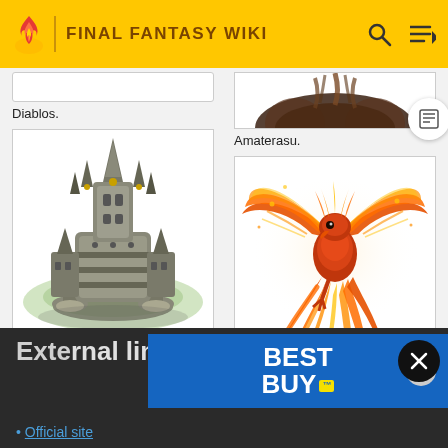FINAL FANTASY WIKI
Diablos.
[Figure (illustration): Alexander – a large mechanical castle-like summon creature with towers and mechanical legs]
Alexander.
[Figure (photo): Amaterasu – partially visible furry creature at the top of the right column]
Amaterasu.
[Figure (illustration): Phoenix – a large fiery bird summon with orange and red wings spread wide, with long flowing tail feathers]
Phoenix.
External links
Official site
[Figure (advertisement): Best Buy advertisement banner in blue]